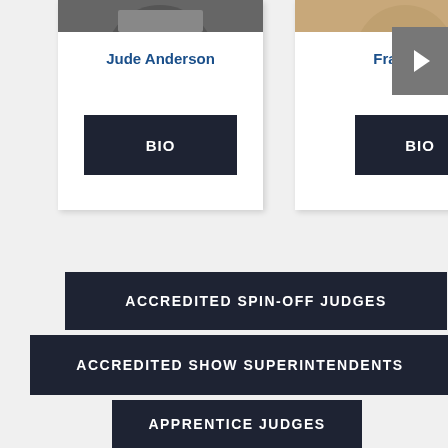[Figure (photo): Photo of Jude Anderson (top portion visible), person wearing colorful scarf]
Jude Anderson
BIO
[Figure (photo): Photo of Frauke E... (top portion visible), person with blonde hair]
Frauke E
BIO
ACCREDITED SPIN-OFF JUDGES
ACCREDITED SHOW SUPERINTENDENTS
APPRENTICE JUDGES